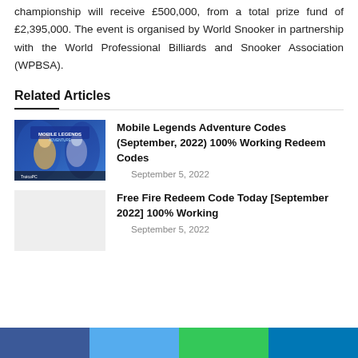championship will receive £500,000, from a total prize fund of £2,395,000. The event is organised by World Snooker in partnership with the World Professional Billiards and Snooker Association (WPBSA).
Related Articles
[Figure (photo): Mobile Legends Adventure game artwork showing game characters against a blue background with the Mobile Legends Adventure logo]
Mobile Legends Adventure Codes (September, 2022) 100% Working Redeem Codes
September 5, 2022
Free Fire Redeem Code Today [September 2022] 100% Working
September 5, 2022